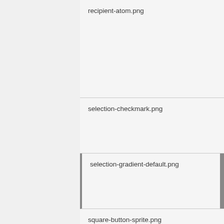| recipient-atom.png |
| selection-checkmark.png |
| selection-gradient-default.png |
| square-button-sprite.png |